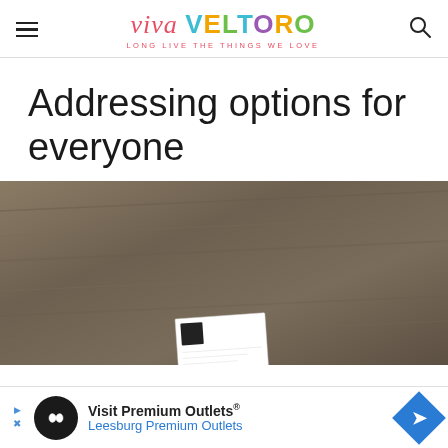viva VELTORO — LONG LIVE THE THINGS WE LOVE
Addressing options for everyone
[Figure (photo): Close-up photo of a wooden table surface with a white card partially visible in the lower portion of the frame]
Visit Premium Outlets® Leesburg Premium Outlets